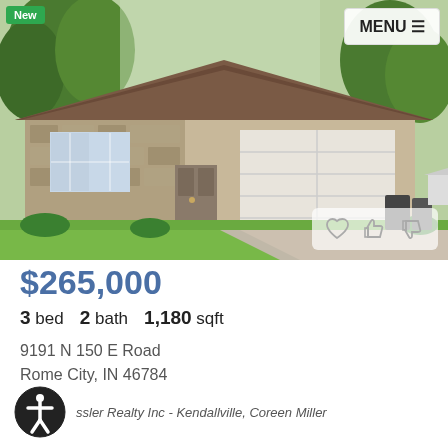[Figure (photo): Exterior photo of a single-story ranch-style home with stone facade, two-car garage, large green lawn and trees]
$265,000
3 bed  2 bath  1,180 sqft
9191 N 150 E Road
Rome City, IN 46784
ssler Realty Inc - Kendallville, Coreen Miller